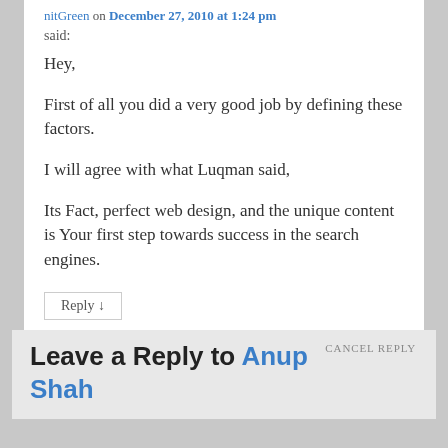nitGreen on December 27, 2010 at 1:24 pm
said:
Hey,

First of all you did a very good job by defining these factors.

I will agree with what Luqman said,

Its Fact, perfect web design, and the unique content is Your first step towards success in the search engines.
Reply ↓
CANCEL REPLY
Leave a Reply to Anup Shah